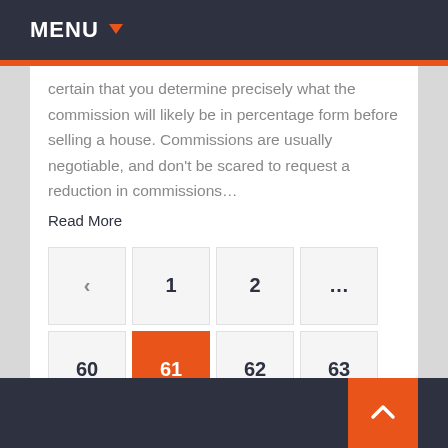MENU
certain that you determine precisely what the commission will likely be in percentage form before selling a house. Commissions are usually negotiable, and don't be scared to request a reduction in commissions…
Read More
[Figure (other): Pagination navigation with buttons: back arrow, 1, 2, ..., 60, 61 (active/highlighted in orange), 62, 63, 64, forward arrow]
Back to top